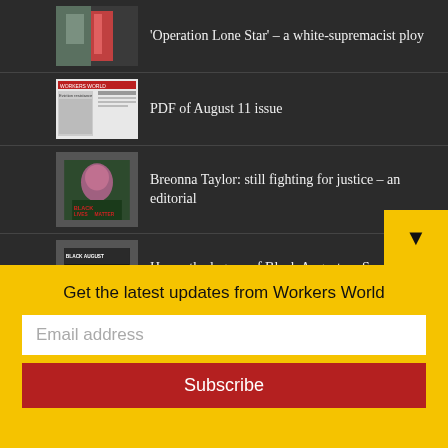'Operation Lone Star' – a white-supremacist ploy
PDF of August 11 issue
Breonna Taylor: still fighting for justice – an editorial
Honor the legacy of Black August — Support Workers World
PDF of August 4 issue
PDF of July 28 issue
Get the latest updates from Workers World
Email address
Subscribe